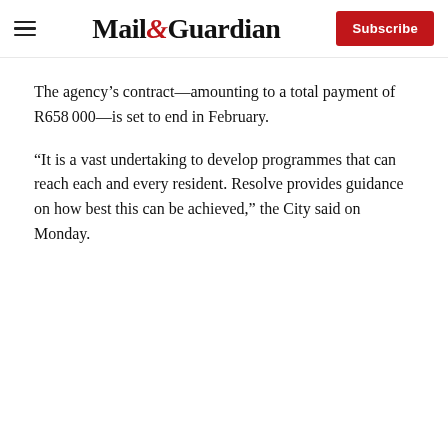Mail&Guardian | Subscribe
The agency’s contract—amounting to a total payment of R658 000—is set to end in February.
“It is a vast undertaking to develop programmes that can reach each and every resident. Resolve provides guidance on how best this can be achieved,” the City said on Monday.